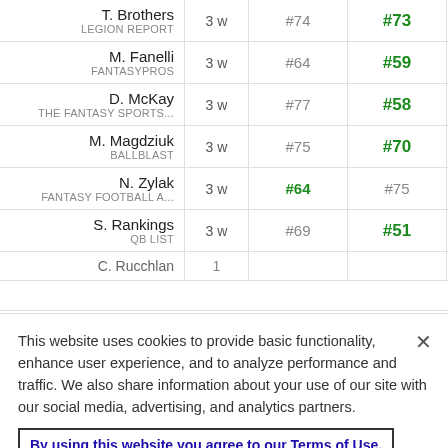| Expert | Weeks | Prev Rank | Curr Rank |  |
| --- | --- | --- | --- | --- |
| T. Brothers / LEGION REPORT | 3 w | #74 | #73 | - |
| M. Fanelli / FANTASYPROS | 3 w | #64 | #59 | - |
| D. McKay / THE FANTASY SPORTS... | 3 w | #77 | #58 | - |
| M. Magdziuk / BALLBLAST | 3 w | #75 | #70 | - |
| N. Zylak / FANTASY FOOTBALL A... | 3 w | #64 | #75 | - |
| S. Rankings / QB LIST | 3 w | #69 | #51 | - |
| C. Rucchlan | 1 |  |  |  |
This website uses cookies to provide basic functionality, enhance user experience, and to analyze performance and traffic. We also share information about your use of our site with our social media, advertising, and analytics partners.
By using this website you agree to our Terms of Use.
Do Not Sell My Personal Information
Accept Cookies